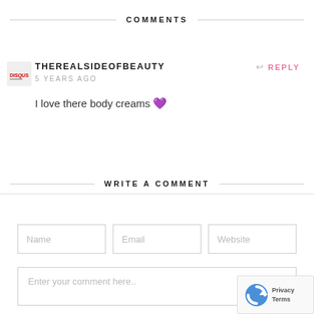COMMENTS
THEREALSIDEOFBEAUTY
5 YEARS AGO
I love there body creams 💜
REPLY
WRITE A COMMENT
Name
Email
Website
Enter your comment here..